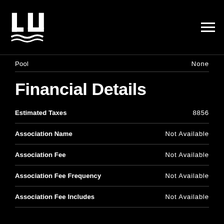[Figure (logo): LJ logo with wave mark in white on black background]
| Field | Value |
| --- | --- |
| Pool | None |
| Estimated Taxes | 8856 |
| Association Name | Not Available |
| Association Fee | Not Available |
| Association Fee Frequency | Not Available |
| Association Fee Includes | Not Available |
Financial Details